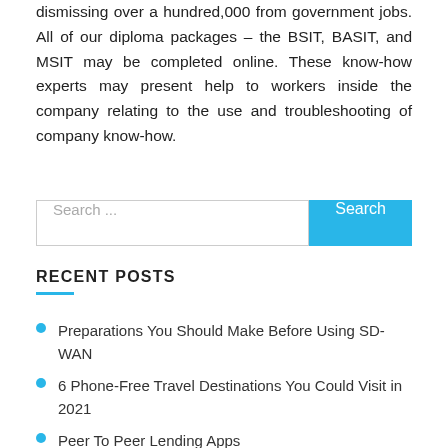dismissing over a hundred,000 from government jobs. All of our diploma packages – the BSIT, BASIT, and MSIT may be completed online. These know-how experts may present help to workers inside the company relating to the use and troubleshooting of company know-how.
Search ...
RECENT POSTS
Preparations You Should Make Before Using SD-WAN
6 Phone-Free Travel Destinations You Could Visit in 2021
Peer To Peer Lending Apps
The Step-by-Step Guide to Building A Gaming PC
5 Innovations That Will Impact the Future of Banking